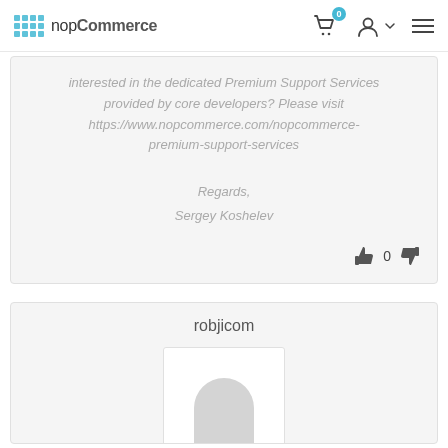nopCommerce
interested in the dedicated Premium Support Services provided by core developers? Please visit https://www.nopcommerce.com/nopcommerce-premium-support-services

Regards,
Sergey Koshelev
robjicom